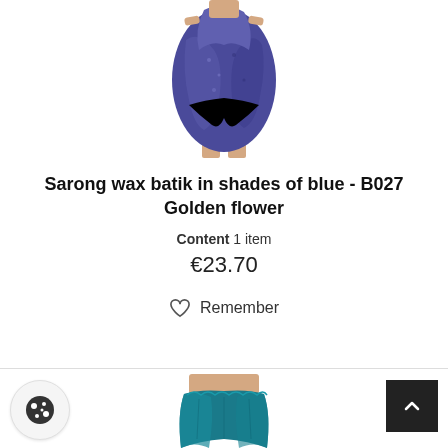[Figure (photo): Woman wearing a blue/purple wax batik sarong draped around lower body, upper body cropped]
Sarong wax batik in shades of blue - B027 Golden flower
Content 1 item
€23.70
Remember
[Figure (photo): Woman wearing a teal/blue strapless sarong wrap dress, lower half of image visible]